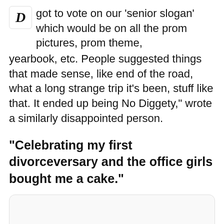got to vote on our 'senior slogan' which would be on all the prom pictures, prom theme, yearbook, etc. People suggested things that made sense, like end of the road, what a long strange trip it's been, stuff like that. It ended up being No Diggety," wrote a similarly disappointed person.
"Celebrating my first divorceversary and the office girls bought me a cake."
[Figure (photo): Empty white rounded rectangle image placeholder]